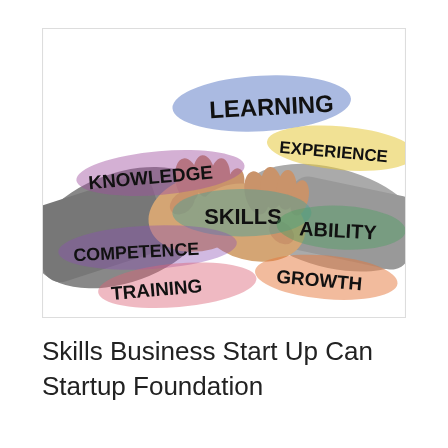[Figure (illustration): Illustration of two hands shaking, overlaid with colorful brush-stroke patches and handwritten-style keywords: LEARNING (blue), KNOWLEDGE (purple), EXPERIENCE (yellow), SKILLS (teal), COMPETENCE (purple), ABILITY (green), TRAINING (pink), GROWTH (orange/red)]
Skills Business Start Up Can Startup Foundation